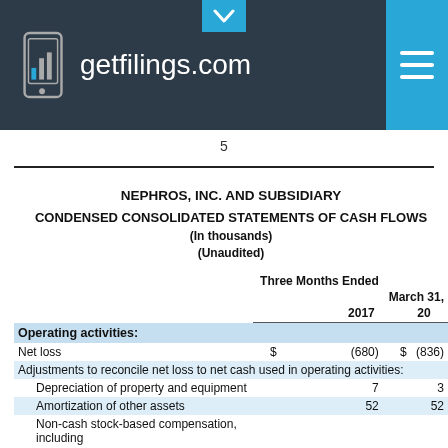getfilings.com
5
NEPHROS, INC. AND SUBSIDIARY
CONDENSED CONSOLIDATED STATEMENTS OF CASH FLOWS
(In thousands)
(Unaudited)
|  | Three Months Ended March 31, 2017 | Three Months Ended March 31, 2016 |
| --- | --- | --- |
| Operating activities: |  |  |
| Net loss | $ (680) | $ (836) |
| Adjustments to reconcile net loss to net cash used in operating activities: |  |  |
| Depreciation of property and equipment | 7 | 3 |
| Amortization of other assets | 52 | 52 |
| Non-cash stock-based compensation, including |  |  |